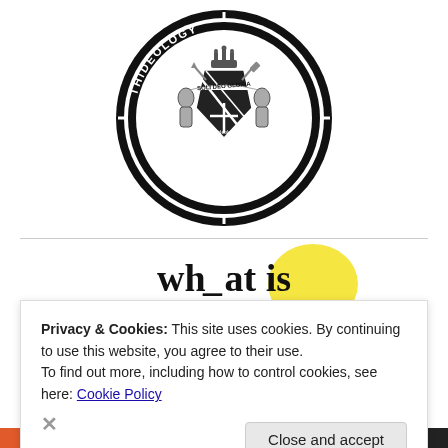[Figure (logo): Thideology circular logo in black and white featuring a shield with 'SOLI DEO GLORIA', crown on top, crossed sword and trowel, two armored figures holding the shield, text 'THIDEOLOGY' around the top, 'God's Word, Applied!' around the bottom, and 'www.thideology.com' at the bottom of the shield.]
wh_at is
Privacy & Cookies: This site uses cookies. By continuing to use this website, you agree to their use.
To find out more, including how to control cookies, see here: Cookie Policy
Close and accept